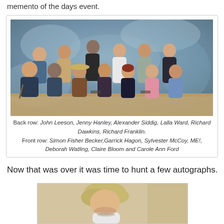memento of the days event.
[Figure (photo): Group photo of Doctor Who actors and guests. Back row standing, front row seated, in front of a blue mottled backdrop.]
Back row: John Leeson, Jenny Hanley, Alexander Siddig, Lalla Ward, Richard Dawkins, Richard Franklin.
Front row: Simon Fisher Becker, Garrick Hagon, Sylvester McCoy, ME!, Deborah Watling, Claire Bloom and Carole Ann Ford
Now that was over it was time to hunt a few autographs.
[Figure (photo): Partial photo of a woman with short blonde hair, looking down, appears to be signing an autograph.]